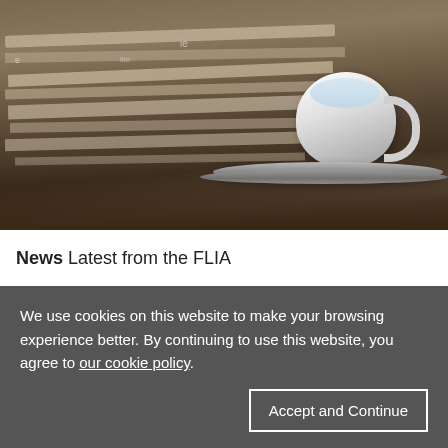[Figure (photo): Photo of a stack of newspapers on a table with a white coffee cup and saucer in the foreground on the right side]
News Latest from the FLIA
We use cookies on this website to make your browsing experience better. By continuing to use this website, you agree to our cookie policy.